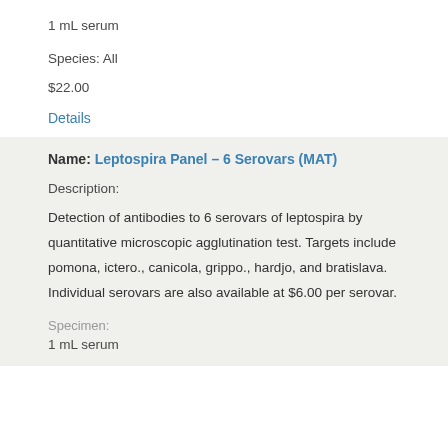1 mL serum
Species: All
$22.00
Details
Name: Leptospira Panel – 6 Serovars (MAT)
Description:
Detection of antibodies to 6 serovars of leptospira by quantitative microscopic agglutination test. Targets include pomona, ictero., canicola, grippo., hardjo, and bratislava.  Individual serovars are also available at $6.00 per serovar.
Specimen:
1 mL serum